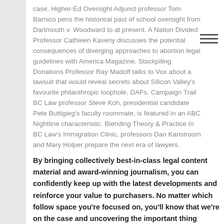case. Higher-Ed Oversight Adjunct professor Tom Barnico pens the historical past of school oversight from Dartmouth v. Woodward to at present. A Nation Divided Professor Cathleen Kaveny discusses the potential consequences of diverging approaches to abortion legal guidelines with America Magazine. Stockpiling Donations Professor Ray Madoff talks to Vox about a lawsuit that would reveal secrets about Silicon Valley's favourite philanthropic loophole, DAFs. Campaign Trail BC Law professor Steve Koh, presidential candidate Pete Buttigieg's faculty roommate, is featured in an ABC Nightline characteristic. Blending Theory & Practice In BC Law's Immigration Clinic, professors Dan Kanstroom and Mary Holper prepare the next era of lawyers.
By bringing collectively best-in-class legal content material and award-winning journalism, you can confidently keep up with the latest developments and reinforce your value to purchasers. No matter which follow space you're focused on, you'll know that we're on the case and uncovering the important thing details. Whether you're in search of the impression of new IRS